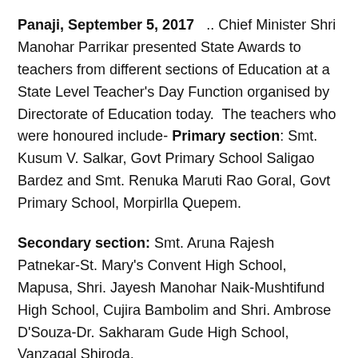Panaji, September 5, 2017  .. Chief Minister Shri Manohar Parrikar presented State Awards to teachers from different sections of Education at a State Level Teacher's Day Function organised by Directorate of Education today.  The teachers who were honoured include- Primary section: Smt. Kusum V. Salkar, Govt Primary School Saligao Bardez and Smt. Renuka Maruti Rao Goral, Govt Primary School, Morpirlla Quepem.
Secondary section: Smt. Aruna Rajesh Patnekar-St. Mary's Convent High School, Mapusa, Shri. Jayesh Manohar Naik-Mushtifund High School, Cujira Bambolim and Shri. Ambrose D'Souza-Dr. Sakharam Gude High School, Vanzagal Shiroda.
Headmaster's category: Shri. Shrikrishna Saju Naik, Govt High School, Kudchire Bicholim,  Smt. Purnima Ramesh